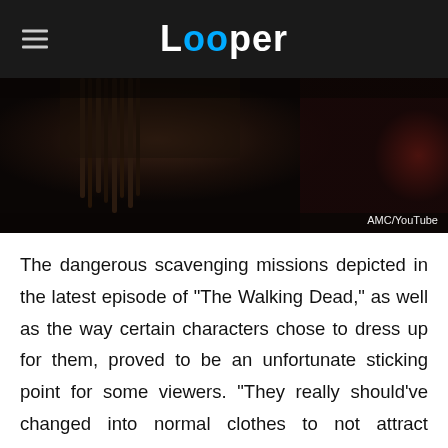Looper
[Figure (photo): Dark scene from The Walking Dead showing a character with dreadlocks and someone in red in the background. Attribution: AMC/YouTube]
The dangerous scavenging missions depicted in the latest episode of "The Walking Dead," as well as the way certain characters chose to dress up for them, proved to be an unfortunate sticking point for some viewers. "They really should've changed into normal clothes to not attract attention. They still look like protagonists," remarked u/Racing2F in regards to Eugene (Josh McDermitt) and his allies' attempts at trying to blend in at the Commonwealth.